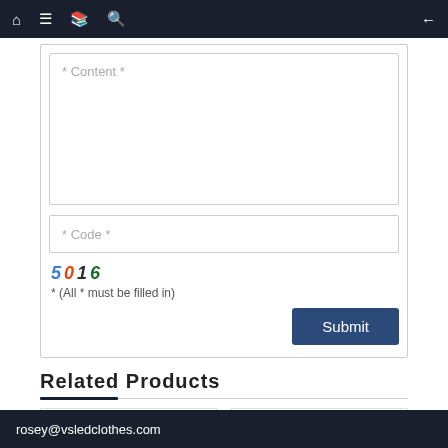Navigation bar with home, menu, book, search, and back icons
* Content *
* Code *
5016
* (All * must be filled in)
Submit
Related Products
rosey@vsledclothes.com